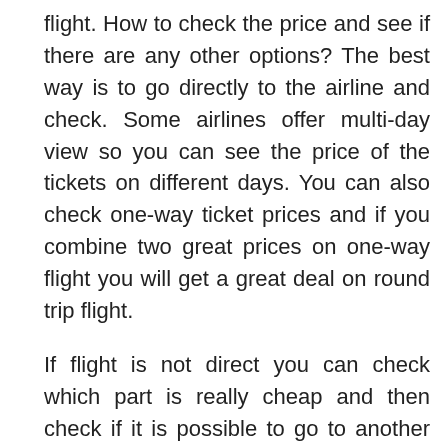flight. How to check the price and see if there are any other options? The best way is to go directly to the airline and check. Some airlines offer multi-day view so you can see the price of the tickets on different days. You can also check one-way ticket prices and if you combine two great prices on one-way flight you will get a great deal on round trip flight.
If flight is not direct you can check which part is really cheap and then check if it is possible to go to another destination using the same starting flight. Let's say you get a special price on flight to Jakarta via Qatar (Qatar Airways). If what makes this tickets cheap is the low price of the flight to Doha (Qatar) you can go to many destinations from there. Bangkok for example might for example have same